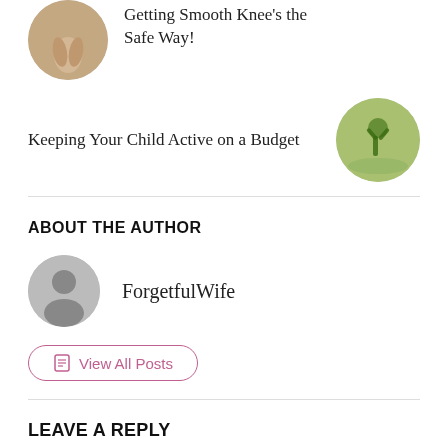[Figure (photo): Circular thumbnail photo of a person's legs near a sink/bathroom context]
Getting Smooth Knee's the Safe Way!
Keeping Your Child Active on a Budget
[Figure (photo): Circular thumbnail photo of a child doing a handstand or yoga pose outdoors on grass]
ABOUT THE AUTHOR
[Figure (photo): Generic grey user avatar placeholder icon]
ForgetfulWife
View All Posts
LEAVE A REPLY
Your email address will not be published. Required fields are marked *